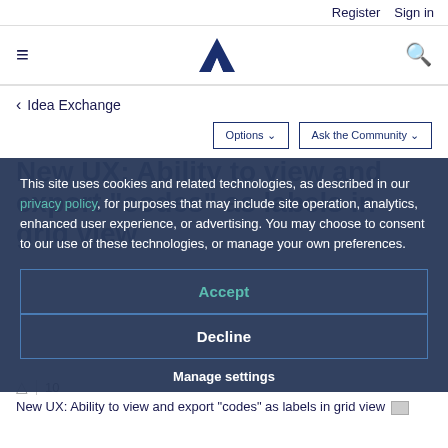Register  Sign in
[Figure (logo): Alteryx logo - stylized A in dark navy blue]
< Idea Exchange
Options ▾   Ask the Community ▾
New UX: Ability to view and export "codes" as labels in grid view
This site uses cookies and related technologies, as described in our privacy policy, for purposes that may include site operation, analytics, enhanced user experience, or advertising. You may choose to consent to our use of these technologies, or manage your own preferences.
Accept
Decline
Manage settings
10
New UX: Ability to view and export "codes" as labels in grid view